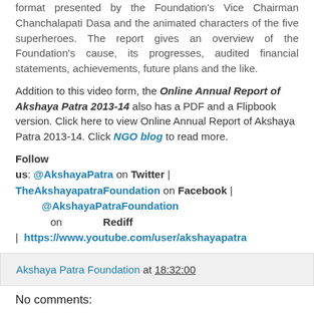format presented by the Foundation's Vice Chairman Chanchalapati Dasa and the animated characters of the five superheroes. The report gives an overview of the Foundation's cause, its progresses, audited financial statements, achievements, future plans and the like.
Addition to this video form, the Online Annual Report of Akshaya Patra 2013-14 also has a PDF and a Flipbook version. Click here to view Online Annual Report of Akshaya Patra 2013-14. Click NGO blog to read more.
Follow us: @AkshayaPatra on Twitter | TheAkshayapatraFoundation on Facebook | @AkshayaPatraFoundation on Rediff | https://www.youtube.com/user/akshayapatra
Akshaya Patra Foundation at 18:32:00
No comments: